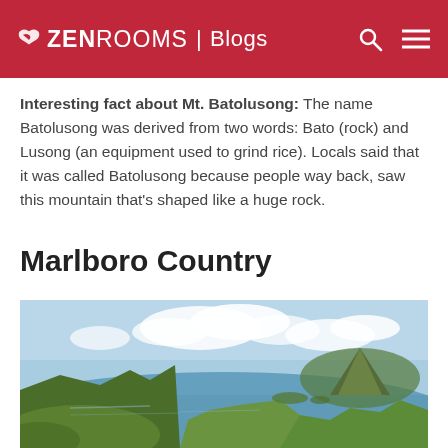ZEN ROOMS | Blogs
Interesting fact about Mt. Batolusong: The name Batolusong was derived from two words: Bato (rock) and Lusong (an equipment used to grind rice). Locals said that it was called Batolusong because people way back, saw this mountain that's shaped like a huge rock.
Marlboro Country
[Figure (photo): Scenic landscape photo showing a green coastal area with a bay, lush hills, and a volcano in the background under a partly cloudy sky. Likely Philippines scenery.]